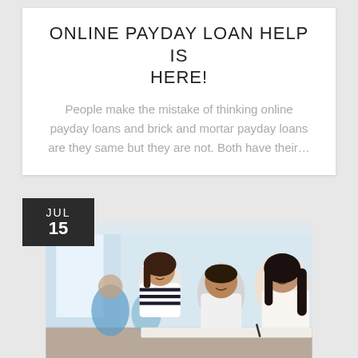ONLINE PAYDAY LOAN HELP IS HERE!
People make the mistake of thinking online payday loans and brick and mortar payday loans are they same but they are not. Both have their...
[Figure (photo): Date badge showing JUL 15 in dark square, overlaid on a photo of three young students studying together at a desk in a bright classroom setting]